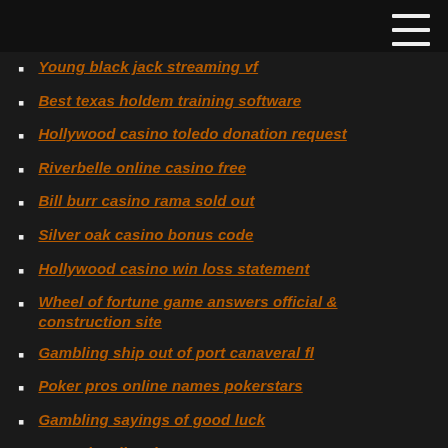Young black jack streaming vf
Best texas holdem training software
Hollywood casino toledo donation request
Riverbelle online casino free
Bill burr casino rama sold out
Silver oak casino bonus code
Hollywood casino win loss statement
Wheel of fortune game answers official & construction site
Gambling ship out of port canaveral fl
Poker pros online names pokerstars
Gambling sayings of good luck
Huawei p8 lite slot 1
Odds of hitting on a slot machine